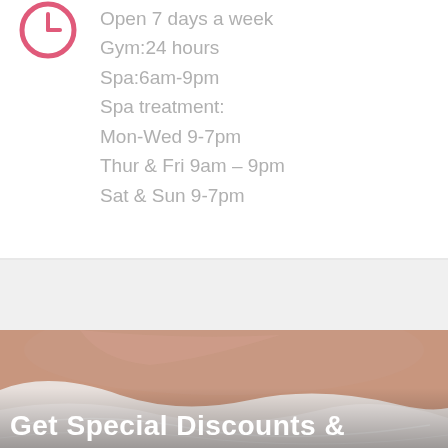[Figure (illustration): Pink circular clock/time icon]
Open 7 days a week
Gym:24 hours
Spa:6am-9pm
Spa treatment:
Mon-Wed 9-7pm
Thur & Fri 9am – 9pm
Sat & Sun 9-7pm
[Figure (photo): Spa massage photo showing a person lying on a treatment table covered with white fabric]
Get Special Discounts &